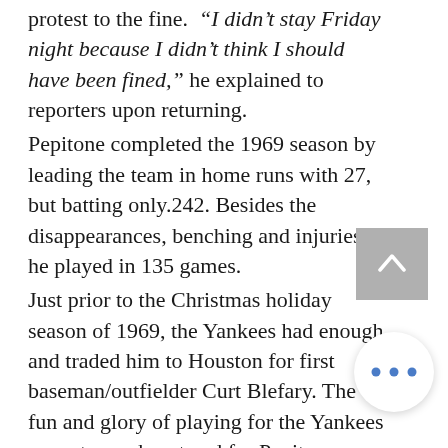protest to the fine. "I didn't stay Friday night because I didn't think I should have been fined," he explained to reporters upon returning. Pepitone completed the 1969 season by leading the team in home runs with 27, but batting only.242. Besides the disappearances, benching and injuries, he played in 135 games. Just prior to the Christmas holiday season of 1969, the Yankees had enough and traded him to Houston for first baseman/outfielder Curt Blefary. The fun and glory of playing for the Yankees came to an abrupt end for Pepitone. When he got to Houston he soon realized how good he had it in New York. They were even stricter